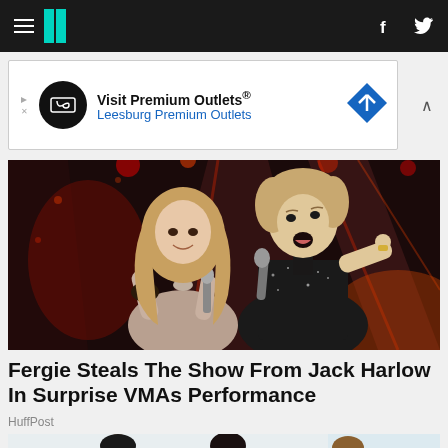HuffPost navigation bar with hamburger menu, logo, Facebook and Twitter icons
[Figure (other): Advertisement banner: Visit Premium Outlets® - Leesburg Premium Outlets with logo and diamond icon]
[Figure (photo): Fergie and Jack Harlow performing on stage at VMAs, both holding microphones, colorful stage lighting in background]
Fergie Steals The Show From Jack Harlow In Surprise VMAs Performance
HuffPost
[Figure (photo): Group of people sitting at a table in a bright office setting, partially visible at bottom of page]